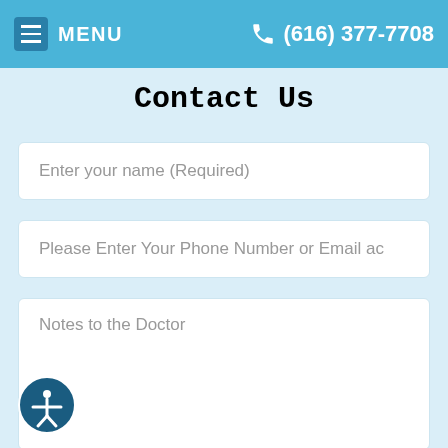MENU  (616) 377-7708
Contact Us
Enter your name (Required)
Please Enter Your Phone Number or Email ac
Notes to the Doctor